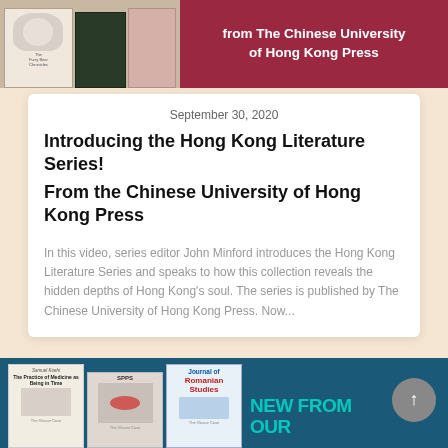[Figure (photo): Top banner showing book covers and text 'from The Chinese University of Hong Kong Press' on dark red background]
September 30, 2020
Introducing the Hong Kong Literature Series!
From the Chinese University of Hong Kong Press
In this video, series editor John Minford introduces the Hong Kong Literature Series and speaks to how this collection reveals the hidden depths of Hong Kong's soul. The series is published by The Chinese University of Hong Kong Press. Now...
[Figure (photo): Bottom banner showing book covers including 'The Practice of Medicine as Being in Time', SPPS journal, 'Journal of Romanian Studies', and teal text 'NEW FROM OUR' on dark blue background]